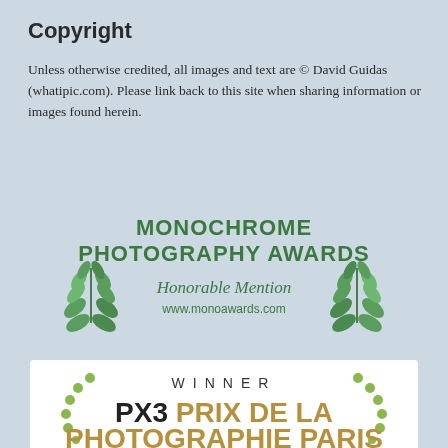Copyright
Unless otherwise credited, all images and text are © David Guidas (whatipic.com). Please link back to this site when sharing information or images found herein.
[Figure (logo): Monochrome Photography Awards badge with laurel leaves, text: MONOCHROME PHOTOGRAPHY AWARDS, Honorable Mention, www.monoawards.com]
[Figure (logo): PX3 Prix de la Photographie Paris winner badge with dotted laurel wreath, text: WINNER PX3 PRIX DE LA PHOTOGRAPHIE PARIS]